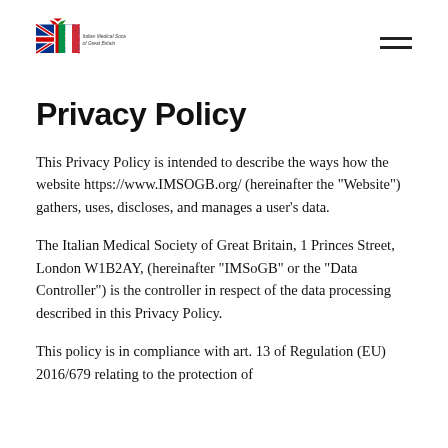Italian Medical Society of Great Britain [logo] [hamburger menu]
Privacy Policy
This Privacy Policy is intended to describe the ways how the website https://www.IMSOGB.org/ (hereinafter the "Website") gathers, uses, discloses, and manages a user's data.
The Italian Medical Society of Great Britain, 1 Princes Street, London W1B2AY, (hereinafter "IMSoGB" or the "Data Controller") is the controller in respect of the data processing described in this Privacy Policy.
This policy is in compliance with art. 13 of Regulation (EU) 2016/679 relating to the protection of